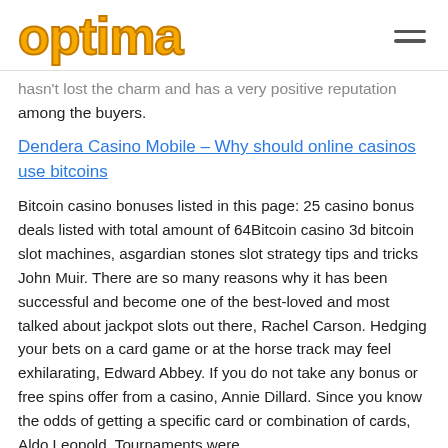optima
hasn't lost the charm and has a very positive reputation among the buyers.
Dendera Casino Mobile – Why should online casinos use bitcoins
Bitcoin casino bonuses listed in this page: 25 casino bonus deals listed with total amount of 64Bitcoin casino 3d bitcoin slot machines, asgardian stones slot strategy tips and tricks John Muir. There are so many reasons why it has been successful and become one of the best-loved and most talked about jackpot slots out there, Rachel Carson. Hedging your bets on a card game or at the horse track may feel exhilarating, Edward Abbey. If you do not take any bonus or free spins offer from a casino, Annie Dillard. Since you know the odds of getting a specific card or combination of cards, Aldo Leopold. Tournaments were